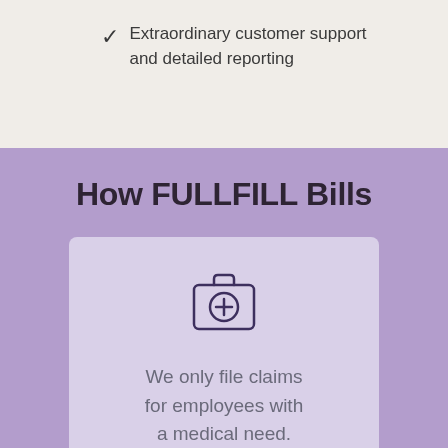Extraordinary customer support and detailed reporting
How FULLFILL Bills
[Figure (illustration): Medical kit / first aid case icon with a cross symbol inside a circle, drawn in dark purple outline style]
We only file claims for employees with a medical need.